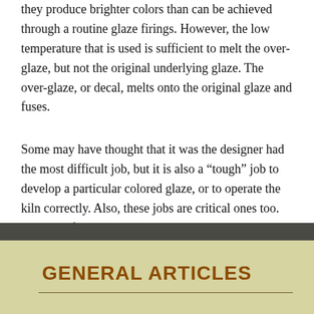they produce brighter colors than can be achieved through a routine glaze firings. However, the low temperature that is used is sufficient to melt the over-glaze, but not the original underlying glaze. The over-glaze, or decal, melts onto the original glaze and fuses.
Some may have thought that it was the designer had the most difficult job, but it is also a “tough” job to develop a particular colored glaze, or to operate the kiln correctly. Also, these jobs are critical ones too. With all of the exacting work involved in making a colorful piece of pottery, it is no wonder that some techniques that potters use are closely guarded. This is especially true with glaze formulas.
GENERAL ARTICLES